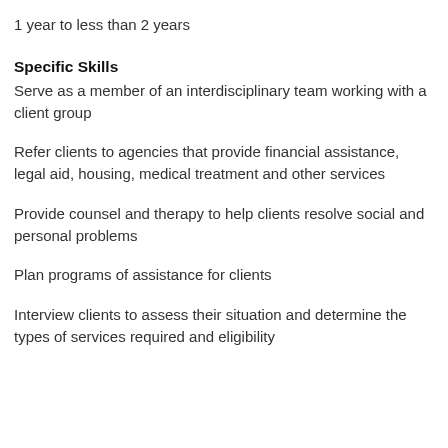1 year to less than 2 years
Specific Skills
Serve as a member of an interdisciplinary team working with a client group
Refer clients to agencies that provide financial assistance, legal aid, housing, medical treatment and other services
Provide counsel and therapy to help clients resolve social and personal problems
Plan programs of assistance for clients
Interview clients to assess their situation and determine the types of services required and eligibility